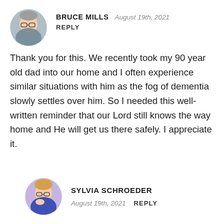[Figure (photo): Circular avatar photo of Bruce Mills, a man with glasses smiling]
BRUCE MILLS  August 19th, 2021
REPLY
Thank you for this. We recently took my 90 year old dad into our home and I often experience similar situations with him as the fog of dementia slowly settles over him. So I needed this well-written reminder that our Lord still knows the way home and He will get us there safely. I appreciate it.
[Figure (photo): Circular avatar photo of Sylvia Schroeder, a woman with glasses]
SYLVIA SCHROEDER
August 19th, 2021  REPLY